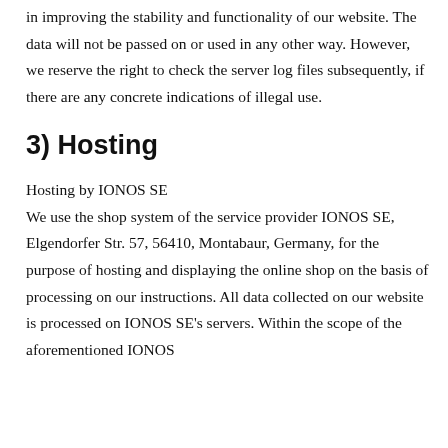in improving the stability and functionality of our website. The data will not be passed on or used in any other way. However, we reserve the right to check the server log files subsequently, if there are any concrete indications of illegal use.
3) Hosting
Hosting by IONOS SE
We use the shop system of the service provider IONOS SE, Elgendorfer Str. 57, 56410, Montabaur, Germany, for the purpose of hosting and displaying the online shop on the basis of processing on our instructions. All data collected on our website is processed on IONOS SE's servers. Within the scope of the aforementioned IONOS